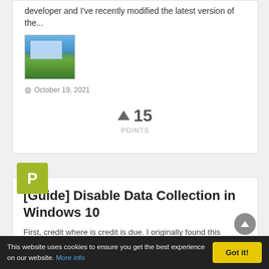developer and I've recently modified the latest version of the...
[Figure (screenshot): Screenshot of a Windows XP desktop with blue sky and green grass wallpaper, showing dialog windows]
October 19, 2021
15 POINTS
P
[Guide] Disable Data Collection in Windows 10
First, credit where is credit is due. I originally found this posted
This website uses cookies to ensure you get the best experience on our website. More info
Got it!